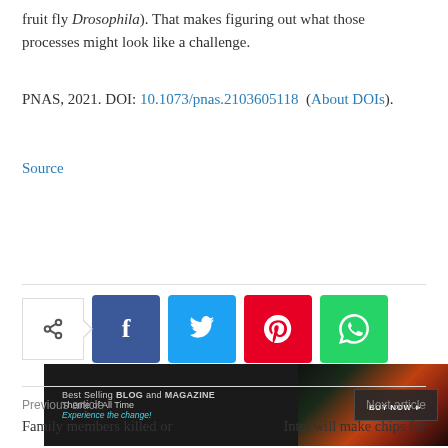fruit fly Drosophila). That makes figuring out what those processes might look like a challenge.
PNAS, 2021. DOI: 10.1073/pnas.2103605118 (About DOIs).
Source
[Figure (other): Advertisement banner: Best Selling BLOG and MAGAZINE Theme of All Time. Experience the change! BUY NOW button on dark background with colorful website screenshot.]
Previous article | Next article
Family members killed or
Intel will make chips for